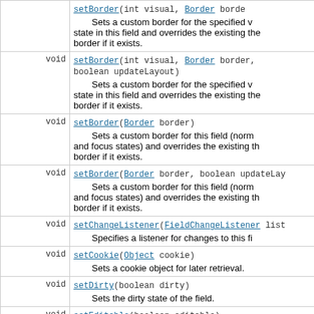| modifier | method/description |
| --- | --- |
| void | setBorder(int visual, Border border,
boolean updateLayout)
     Sets a custom border for the specified v... state in this field and overrides the existing the... border if it exists. |
| void | setBorder(Border border)
     Sets a custom border for this field (norm... and focus states) and overrides the existing th... border if it exists. |
| void | setBorder(Border border, boolean updateLay...
     Sets a custom border for this field (norm... and focus states) and overrides the existing th... border if it exists. |
| void | setChangeListener(FieldChangeListener list...
     Specifies a listener for changes to this fi... |
| void | setCookie(Object cookie)
     Sets a cookie object for later retrieval. |
| void | setDirty(boolean dirty)
     Sets the dirty state of the field. |
| void | setEditable(boolean editable)
     Set the editable state of this field. |
| protected void | setExtent(int width, int height)
     Set this field's... |